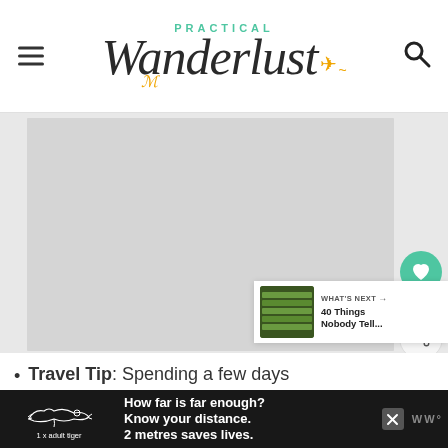Practical Wanderlust
[Figure (photo): Main article image area (large gray/white placeholder image)]
[Figure (infographic): Floating side buttons: heart/like button with 9.5K count, and share button]
WHAT'S NEXT → 40 Things Nobody Tell...
Travel Tip: Spending a few days
[Figure (infographic): Ad banner: tiger illustration, '1 x adult tiger', 'How far is far enough? Know your distance. 2 metres saves lives.' with close button and WW logo]